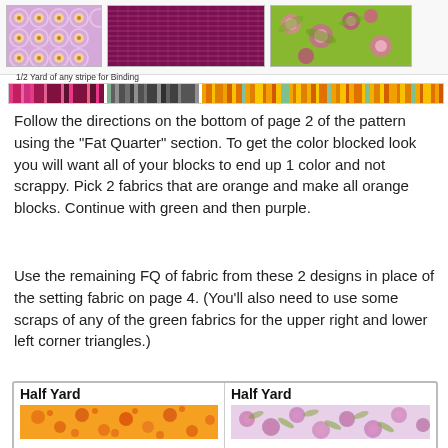[Figure (photo): Three fabric swatches shown at top: circles/geometric pattern in purple, textured grid pattern in purple/maroon, and floral pattern in green/pink]
1/2 Yard of any stripe for Binding
[Figure (illustration): Strip showing colorful stripe fabric samples in pink, purple, teal, gray, and orange/yellow color combinations]
Follow the directions on the bottom of page 2 of the pattern using the "Fat Quarter" section. To get the color blocked look you will want all of your blocks to end up 1 color and not scrappy. Pick 2 fabrics that are orange and make all orange blocks. Continue with green and then purple.
Use the remaining FQ of fabric from these 2 designs in place of the setting fabric on page 4. (You'll also need to use some scraps of any of the green fabrics for the upper right and lower left corner triangles.)
| Half Yard | Half Yard |
| --- | --- |
| [orange decorative fabric swatch] | [pink/purple floral fabric swatch] |